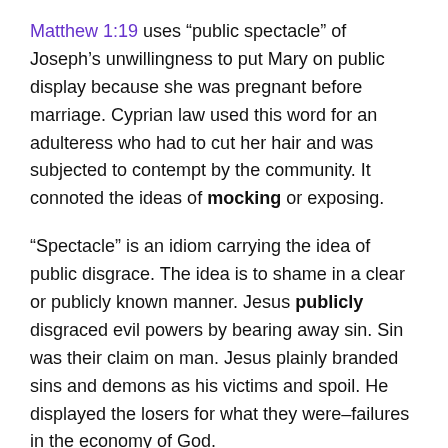Matthew 1:19 uses “public spectacle” of Joseph’s unwillingness to put Mary on public display because she was pregnant before marriage. Cyprian law used this word for an adulteress who had to cut her hair and was subjected to contempt by the community. It connoted the ideas of mocking or exposing.
“Spectacle” is an idiom carrying the idea of public disgrace. The idea is to shame in a clear or publicly known manner. Jesus publicly disgraced evil powers by bearing away sin. Sin was their claim on man. Jesus plainly branded sins and demons as his victims and spoil. He displayed the losers for what they were–failures in the economy of God.